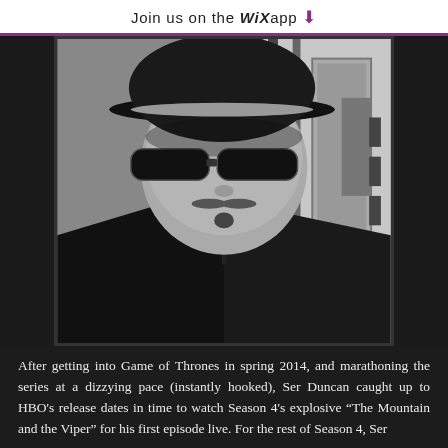Join us on the WiX app ⬇
[Figure (photo): Black and white photo of a man wearing a fedora hat and dark sunglasses, dressed in a suit and tie, standing in what appears to be a corridor with architectural elements in the background.]
After getting into Game of Thrones in spring 2014, and marathoning the series at a dizzying pace (instantly hooked), Ser Duncan caught up to HBO's release dates in time to watch Season 4's explosive “The Mountain and the Viper” for his first episode live. For the rest of Season 4, Ser